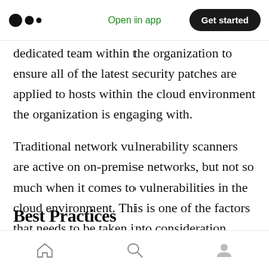Open in app | Get started
dedicated team within the organization to ensure all of the latest security patches are applied to hosts within the cloud environment the organization is engaging with.
Traditional network vulnerability scanners are active on on-premise networks, but not so much when it comes to vulnerabilities in the cloud environment. This is one of the factors that needs to be taken into consideration while setting up your cloud migration strategy.
Best Practices
Home | Search | Profile